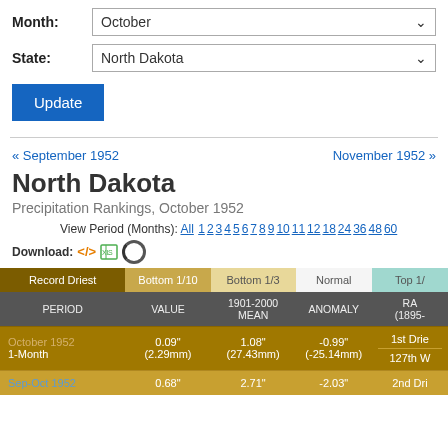Month: October
State: North Dakota
Update
« September 1952
November 1952 »
North Dakota
Precipitation Rankings, October 1952
View Period (Months): All 1 2 3 4 5 6 7 8 9 10 11 12 18 24 36 48 60
Download:
| PERIOD | VALUE | 1901-2000 MEAN | ANOMALY | RANK (1895-) |
| --- | --- | --- | --- | --- |
| October 1952 / 1-Month | 0.09" (2.29mm) | 1.08" (27.43mm) | -0.99" (-25.14mm) | 1st Driest / 127th W |
| Sep-Oct 1952 | 0.68" | 2.71" | -2.03" | 2nd Dri |